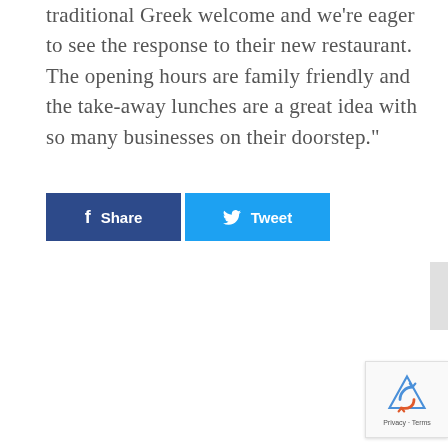traditional Greek welcome and we're eager to see the response to their new restaurant. The opening hours are family friendly and the take-away lunches are a great idea with so many businesses on their doorstep."
[Figure (other): Social share buttons: Facebook Share button (dark blue) and Twitter Tweet button (light blue)]
[Figure (other): reCAPTCHA badge with recycling-arrow logo and Privacy · Terms text]